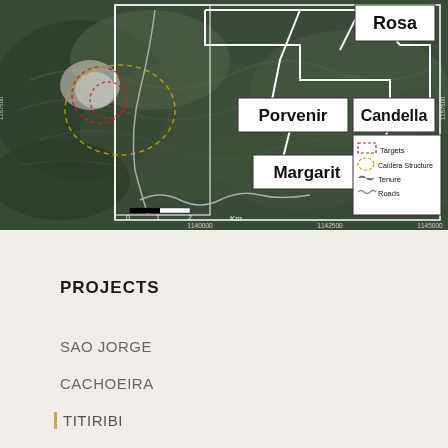[Figure (map): Satellite/aerial map showing mining project targets in the Titiribi area. Labels visible: Rosa (top right), Porvenir (center), Candella (right center), Margarit (bottom center-left). Legend shows: Targets (red dashed outline), Caldera Structure (yellow dashed outline), Tenure (black outline), Roads (grey line). Scale bar shows 0-1-2 Km. Coordinate grid lines visible.]
PROJECTS
SAO JORGE
CACHOEIRA
TITIRIBI
WHISTLER